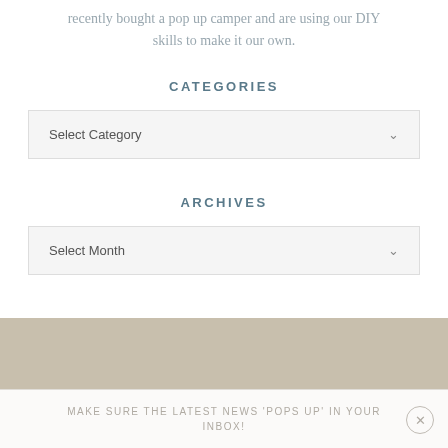recently bought a pop up camper and are using our DIY skills to make it our own.
CATEGORIES
Select Category
ARCHIVES
Select Month
MAKE SURE THE LATEST NEWS 'POPS UP' IN YOUR INBOX!